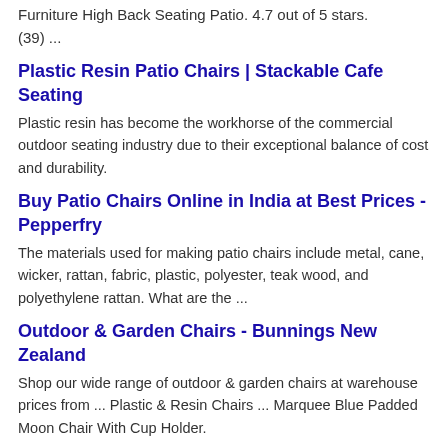Furniture High Back Seating Patio. 4.7 out of 5 stars. (39) ...
Plastic Resin Patio Chairs | Stackable Cafe Seating
Plastic resin has become the workhorse of the commercial outdoor seating industry due to their exceptional balance of cost and durability.
Buy Patio Chairs Online in India at Best Prices - Pepperfry
The materials used for making patio chairs include metal, cane, wicker, rattan, fabric, plastic, polyester, teak wood, and polyethylene rattan. What are the ...
Outdoor & Garden Chairs - Bunnings New Zealand
Shop our wide range of outdoor & garden chairs at warehouse prices from ... Plastic & Resin Chairs ... Marquee Blue Padded Moon Chair With Cup Holder.
Plastic & Resin Chairs - Bunnings Australia